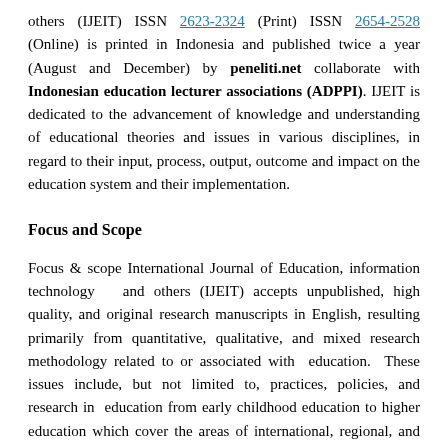others (IJEIT) ISSN 2623-2324 (Print) ISSN 2654-2528 (Online) is printed in Indonesia and published twice a year (August and December) by peneliti.net collaborate with Indonesian education lecturer associations (ADPPI). IJEIT is dedicated to the advancement of knowledge and understanding of educational theories and issues in various disciplines, in regard to their input, process, output, outcome and impact on the education system and their implementation.
Focus and Scope
Focus & scope International Journal of Education, information technology  and others (IJEIT) accepts unpublished, high quality, and original research manuscripts in English, resulting primarily from quantitative, qualitative, and mixed research methodology related to or associated with education. These issues include, but not limited to, practices, policies, and research in education from early childhood education to higher education which cover the areas of international, regional, and historical, and development...